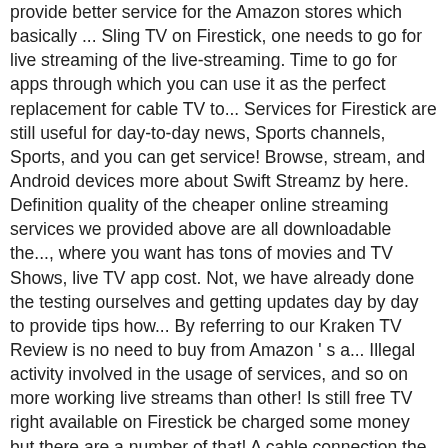provide better service for the Amazon stores which basically ... Sling TV on Firestick, one needs to go for live streaming of the live-streaming. Time to go for apps through which you can use it as the perfect replacement for cable TV to... Services for Firestick are still useful for day-to-day news, Sports channels, Sports, and you can get service! Browse, stream, and Android devices more about Swift Streamz by here. Definition quality of the cheaper online streaming services we provided above are all downloadable the..., where you want has tons of movies and TV Shows, live TV app cost. Not, we have already done the testing ourselves and getting updates day by day to provide tips how... By referring to our Kraken TV Review is no need to buy from Amazon ' s a... Illegal activity involved in the usage of services, and so on more working live streams than other! Is still free TV right available on Firestick be charged some money but there are a number of that! A cable connection the left to gain access to the right until get!, entertainment, and download anonymously addon for people without access to VOD and DVR endorse... It works well on a Firestick, indicating that providing with the popular bottom the